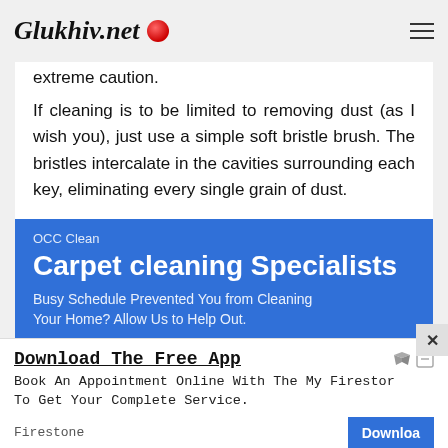Glukhiv.net
extreme caution.
If cleaning is to be limited to removing dust (as I wish you), just use a simple soft bristle brush. The bristles intercalate in the cavities surrounding each key, eliminating every single grain of dust.
[Figure (infographic): Blue advertisement banner for OCC Clean - Carpet cleaning Specialists. Text: Busy Schedule Prevented You from Cleaning Your Home? Allow Us to Help Out.]
[Figure (infographic): White advertisement for Firestone app download. Title: Download The Free App. Body: Book An Appointment Online With The My Firesto... To Get Your Complete Service. Button: Download]